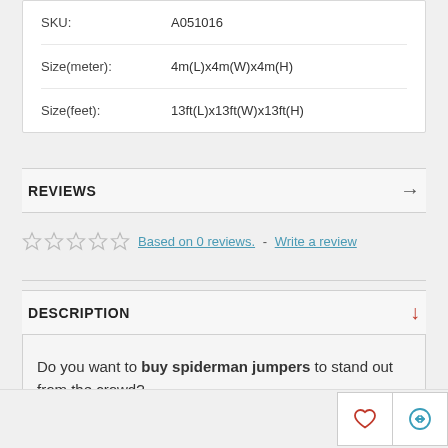| SKU: | A051016 |
| Size(meter): | 4m(L)x4m(W)x4m(H) |
| Size(feet): | 13ft(L)x13ft(W)x13ft(H) |
REVIEWS
Based on 0 reviews. - Write a review
DESCRIPTION
Do you want to buy spiderman jumpers to stand out from the crowd?